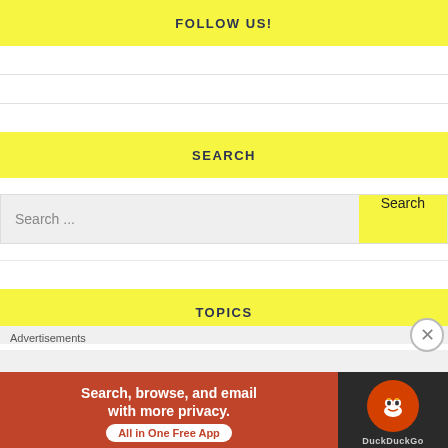FOLLOW US!
SEARCH
Search ...
TOPICS
Advertisements
[Figure (screenshot): DuckDuckGo advertisement banner: orange left side with text 'Search, browse, and email with more privacy. All in One Free App', dark right side with DuckDuckGo duck logo]